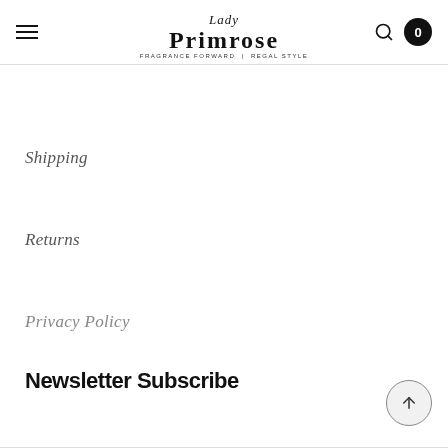Lady Primrose — FRAGRANCE FORWARD | REGAL STYLE
Shipping
Returns
Privacy Policy
Newsletter Subscribe